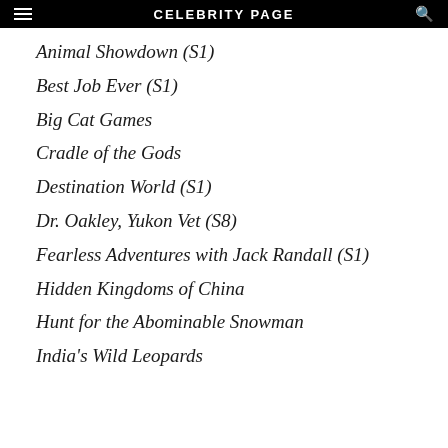CELEBRITY PAGE
Animal Showdown (S1)
Best Job Ever (S1)
Big Cat Games
Cradle of the Gods
Destination World (S1)
Dr. Oakley, Yukon Vet (S8)
Fearless Adventures with Jack Randall (S1)
Hidden Kingdoms of China
Hunt for the Abominable Snowman
India's Wild Leopards